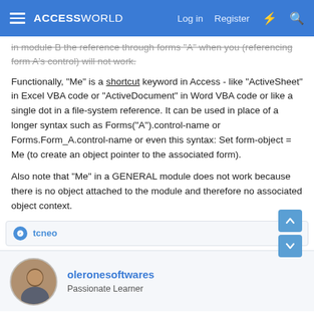ACCESSWORLD | Log in | Register
(referencing form A's control) will not work.
Functionally, "Me" is a shortcut keyword in Access - like "ActiveSheet" in Excel VBA code or "ActiveDocument" in Word VBA code or like a single dot in a file-system reference. It can be used in place of a longer syntax such as Forms("A").control-name or Forms.Form_A.control-name or even this syntax: Set form-object = Me (to create an object pointer to the associated form).
Also note that "Me" in a GENERAL module does not work because there is no object attached to the module and therefore no associated object context.
👍 tcneo
oleronesoftwares
Passionate Learner